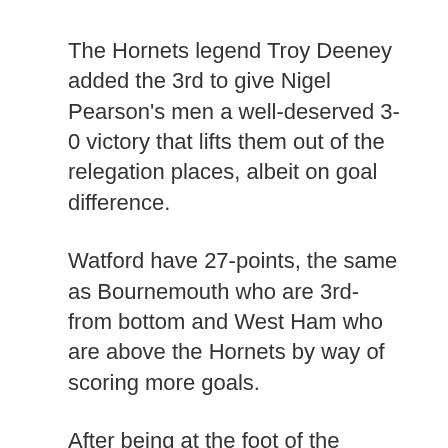The Hornets legend Troy Deeney added the 3rd to give Nigel Pearson's men a well-deserved 3-0 victory that lifts them out of the relegation places, albeit on goal difference.
Watford have 27-points, the same as Bournemouth who are 3rd-from bottom and West Ham who are above the Hornets by way of scoring more goals.
After being at the foot of the Premier League table when Big Nigel took over, it's simply remarkable that the Hornets find themselves out of the drop-zone.
Back in early December at Vicarage Rd,